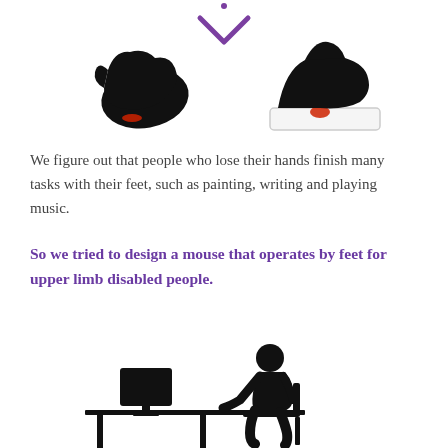[Figure (illustration): Purple downward chevron/arrow at top center, followed by two illustrations side by side: left shows a black hand using a computer mouse with red laser light underneath; right shows a black foot pressing on a flat device (foot mouse) with red sensor area.]
We figure out that people who lose their hands finish many tasks with their feet, such as painting, writing and playing music.
So we tried to design a mouse that operates by feet for upper limb disabled people.
[Figure (illustration): Stick figure person seated at a desk with a monitor, using a computer. Black silhouette style.]